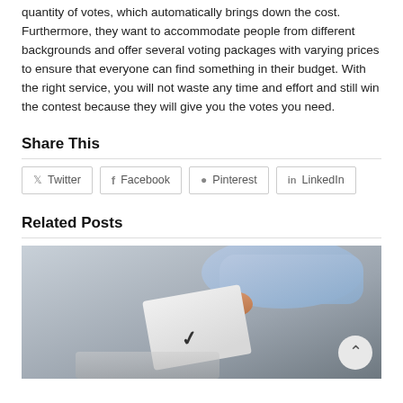quantity of votes, which automatically brings down the cost. Furthermore, they want to accommodate people from different backgrounds and offer several voting packages with varying prices to ensure that everyone can find something in their budget. With the right service, you will not waste any time and effort and still win the contest because they will give you the votes you need.
Share This
[Figure (other): Social share buttons for Twitter, Facebook, Pinterest, and LinkedIn]
Related Posts
[Figure (photo): A hand inserting a ballot card into a ballot box, with a checkmark visible on the card. A circular scroll-to-top button is overlaid in the bottom-right corner.]